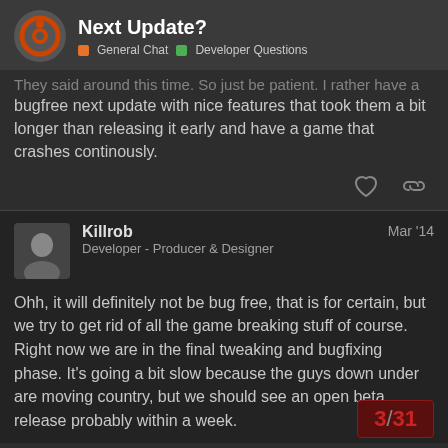Next Update?
They said around this time. So just be patient. I rather have a bugfree next update with nice features that took them a bit longer than releasing it early and have a game that crashes continously.
Killrob
Developer - Producer & Designer
Mar '14
Ohh, it will definitely not be bug free, that is for certain, but we try to get rid of all the game breaking stuff of course.
Right now we are in the final tweaking and bugfixing phase. It's going a bit slow because the guys down under are moving country, but we should see an open beta release probably within a week.
3 / 31